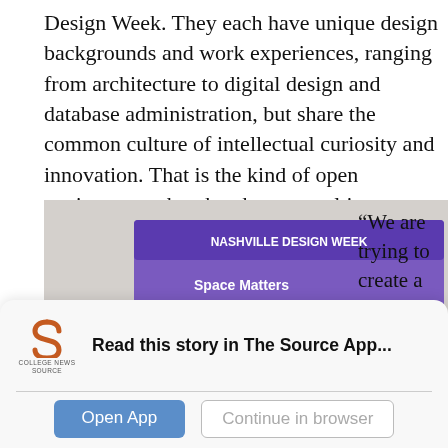Design Week. They each have unique design backgrounds and work experiences, ranging from architecture to digital design and database administration, but share the common culture of intellectual curiosity and innovation. That is the kind of open environment that they hope to cultivate at this year’s festival.
[Figure (photo): Panel discussion at Nashville Design Week. Several people sit in chairs in front of a projected screen showing 'Space Matters' presentation. A purple slide with 'NASHVILLE DESIGN WEEK' banner is visible.]
“We are trying to create a higher
Read this story in The Source App...
Open App
Continue in browser